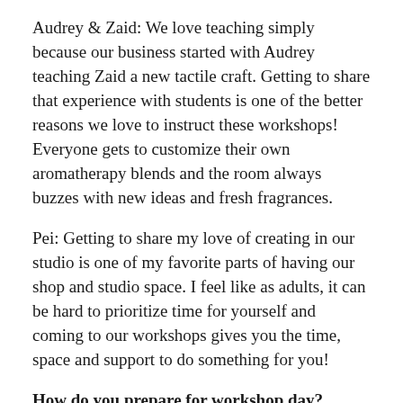Audrey & Zaid: We love teaching simply because our business started with Audrey teaching Zaid a new tactile craft. Getting to share that experience with students is one of the better reasons we love to instruct these workshops! Everyone gets to customize their own aromatherapy blends and the room always buzzes with new ideas and fresh fragrances.
Pei: Getting to share my love of creating in our studio is one of my favorite parts of having our shop and studio space. I feel like as adults, it can be hard to prioritize time for yourself and coming to our workshops gives you the time, space and support to do something for you!
How do you prepare for workshop day?